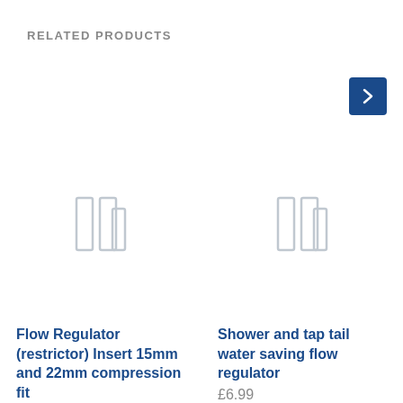RELATED PRODUCTS
[Figure (illustration): Image placeholder icon for Flow Regulator product — three vertical rectangles in light gray outline]
Flow Regulator (restrictor) Insert 15mm and 22mm compression fit
[Figure (illustration): Image placeholder icon for Shower and tap tail water saving flow regulator product — three vertical rectangles in light gray outline]
Shower and tap tail water saving flow regulator
£6.99